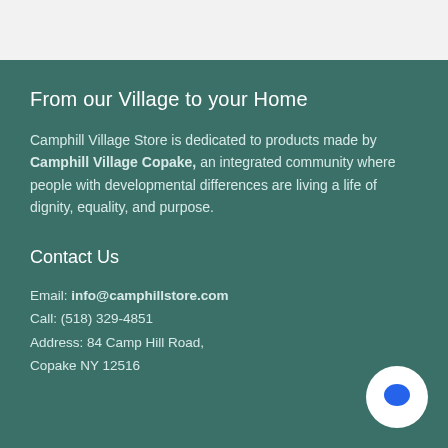From our Village to your Home
Camphill Village Store is dedicated to products made by Camphill Village Copake, an integrated community where people with developmental differences are living a life of dignity, equality, and purpose.
Contact Us
Email: info@camphillstore.com
Call: (518) 329-4851
Address: 84 Camp Hill Road,
Copake NY 12516